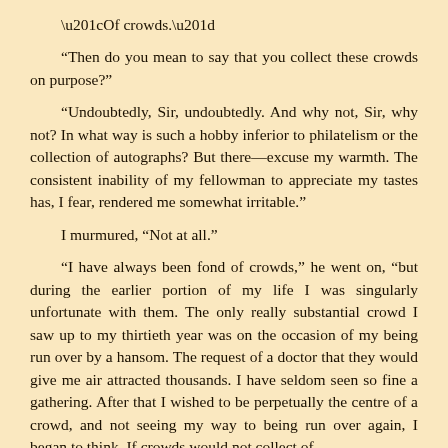“Of crowds.”
“Then do you mean to say that you collect these crowds on purpose?”
“Undoubtedly, Sir, undoubtedly. And why not, Sir, why not? In what way is such a hobby inferior to philatelism or the collection of autographs? But there—excuse my warmth. The consistent inability of my fellowman to appreciate my tastes has, I fear, rendered me somewhat irritable.”
I murmured, “Not at all.”
“I have always been fond of crowds,” he went on, “but during the earlier portion of my life I was singularly unfortunate with them. The only really substantial crowd I saw up to my thirtieth year was on the occasion of my being run over by a hansom. The request of a doctor that they would give me air attracted thousands. I have seldom seen so fine a gathering. After that I wished to be perpetually the centre of a crowd, and not seeing my way to being run over again, I began to think. If crowds would not collect of